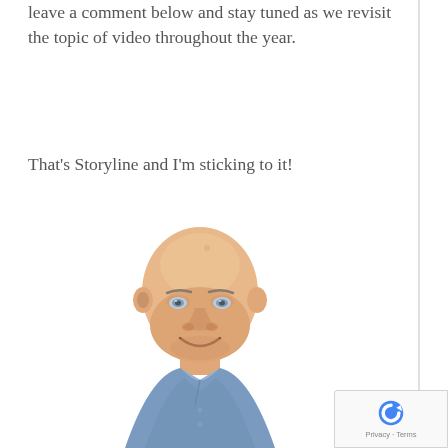leave a comment below and stay tuned as we revisit the topic of video throughout the year.
That's Storyline and I'm sticking to it!
[Figure (illustration): Cartoon illustration of a bald smiling man wearing a blue collared shirt, shown from the shoulders up]